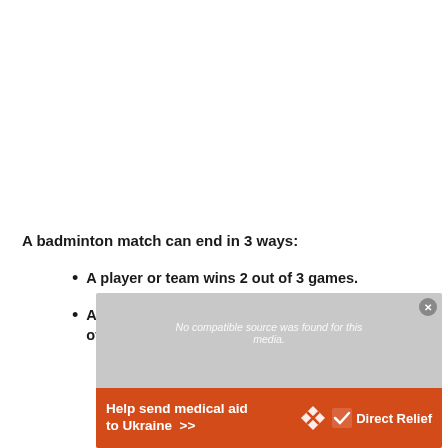A badminton match can end in 3 ways:
A player or team wins 2 out of 3 games.
A player or team forfeits the match due to injury or other reasons.
[Figure (other): Overlay showing a video player with 'No compatible source was found for this media.' message and a Direct Relief advertisement banner 'Help send medical aid to Ukraine >>']